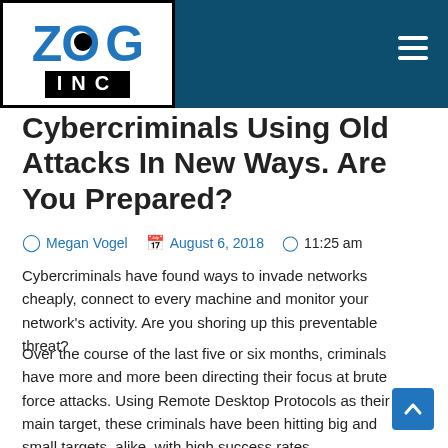[Figure (logo): ZOG Inc. logo — white background with blue letters Z, O, G on top row and white INC text on black background strip below]
Cybercriminals Using Old Attacks In New Ways. Are You Prepared?
Megan Vogel   August 6, 2018   11:25 am
Cybercriminals have found ways to invade networks cheaply, connect to every machine and monitor your network's activity. Are you shoring up this preventable threat?
Over the course of the last five or six months, criminals have more and more been directing their focus at brute force attacks. Using Remote Desktop Protocols as their main target, these criminals have been hitting big and small targets, alike, with high success rates.